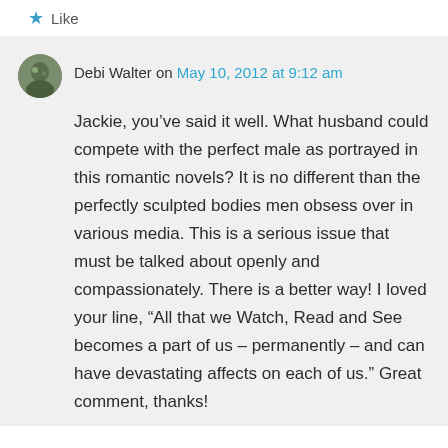Like
Debi Walter on May 10, 2012 at 9:12 am
Jackie, you've said it well. What husband could compete with the perfect male as portrayed in this romantic novels? It is no different than the perfectly sculpted bodies men obsess over in various media. This is a serious issue that must be talked about openly and compassionately. There is a better way! I loved your line, “All that we Watch, Read and See becomes a part of us – permanently – and can have devastating affects on each of us.” Great comment, thanks!